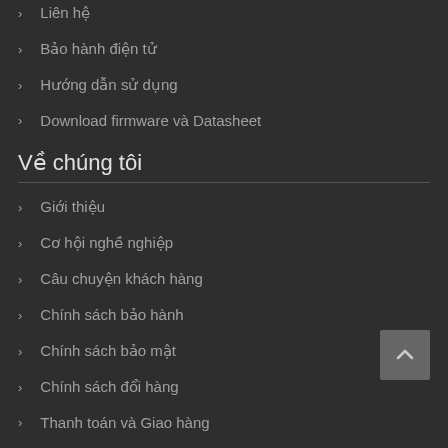> Liên hệ
> Bảo hành điện tử
> Hướng dẫn sử dụng
> Download firmware và Datasheet
Về chúng tôi
> Giới thiệu
> Cơ hội nghề nghiệp
> Câu chuyện khách hàng
> Chính sách bảo hành
> Chính sách bảo mật
> Chính sách đổi hàng
> Thanh toán và Giao hàng
Sản phẩm